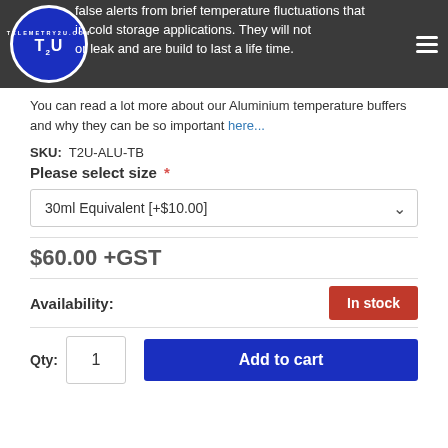Telemetry2U - T2U-ALU-TB product page header
false alerts from brief temperature fluctuations that in cold storage applications. They will not or leak and are build to last a life time.
You can read a lot more about our Aluminium temperature buffers and why they can be so important here...
SKU:  T2U-ALU-TB
Please select size *
30ml Equivalent [+$10.00]
$60.00 +GST
Availability:
In stock
Qty: 1
Add to cart